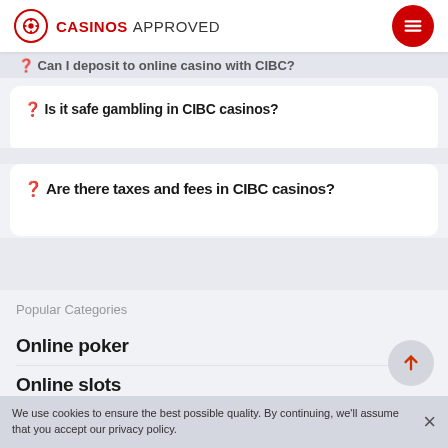CASINOS APPROVED
Can I deposit to online casino with CIBC?
❓ Is it safe gambling in CIBC casinos?
❓ Are there taxes and fees in CIBC casinos?
Popular Categories
Online poker
Online slots
Roulette
TD online gambling
We use cookies to ensure the best possible quality. By continuing, we'll assume that you accept our privacy policy.